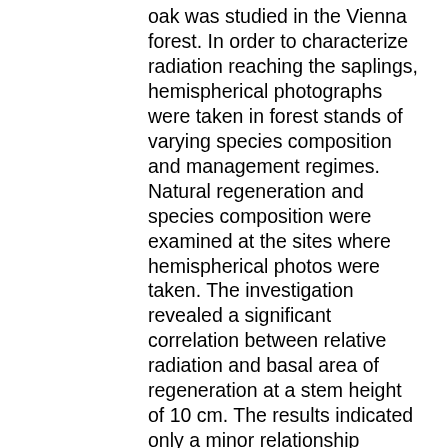oak was studied in the Vienna forest. In order to characterize radiation reaching the saplings, hemispherical photographs were taken in forest stands of varying species composition and management regimes. Natural regeneration and species composition were examined at the sites where hemispherical photos were taken. The investigation revealed a significant correlation between relative radiation and basal area of regeneration at a stem height of 10 cm. The results indicated only a minor relationship between light and annual height increment of beech saplings, whereas saplings of oak and maple increased their annual length when exposed to more light. Annual length growth of beech and oak was highly related to tree height, whereas maple saplings showed large variation in length growth. In the present study, the specific leaf area of all tree species increased with decreasing radiation. However, greatest plasticity in terms of leaf area and light exposure was observed for beech. The analysis leads to the conclusion that interspecific competition will mainly affect regeneration processes. The dominance of maple in a mixed-species broadleaved stand will probably be replaced by beech whereas, in